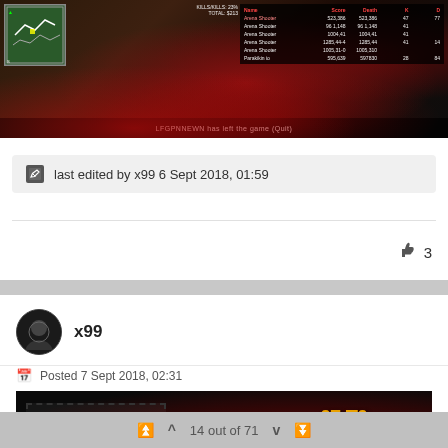[Figure (screenshot): Screenshot of a video game (GTA-style) showing a red sports car on a road with a scoreboard overlay and minimap in the top-left corner. A dark HUD bar is at the bottom of the screenshot.]
last edited by x99 6 Sept 2018, 01:59
3
x99
Posted 7 Sept 2018, 02:31
[Figure (photo): Post image showing the word ACTIVITY in bold red italic font inside a dashed border box on the left, and on the right a dark graphic with red splatter background showing the text 07-TB TERRORIST GROUP in white letters with a yellow/orange logo.]
14 out of 71